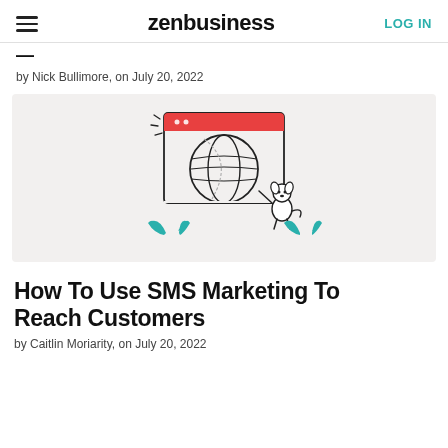zenbusiness | LOG IN
— (title cutoff)
by Nick Bullimore, on July 20, 2022
[Figure (illustration): Illustration of a globe inside a browser window with a red title bar showing two dots, teal leaf/plant elements at bottom, and a small cartoon dog character standing to the right of the globe. Light gray background.]
How To Use SMS Marketing To Reach Customers
by Caitlin Moriarity, on July 20, 2022